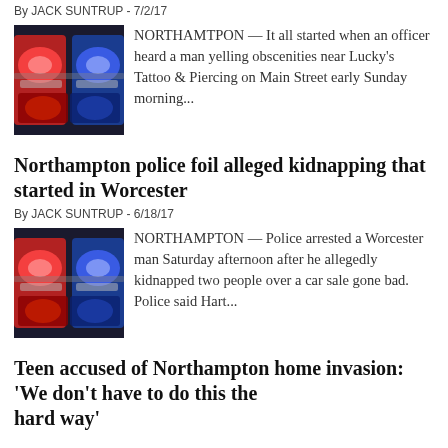By JACK SUNTRUP - 7/2/17
[Figure (photo): Photo of police vehicle emergency lights — red and blue lights close-up]
NORTHAMTPON — It all started when an officer heard a man yelling obscenities near Lucky's Tattoo & Piercing on Main Street early Sunday morning...
Northampton police foil alleged kidnapping that started in Worcester
By JACK SUNTRUP - 6/18/17
[Figure (photo): Photo of police vehicle emergency lights — red and blue lights close-up]
NORTHAMPTON — Police arrested a Worcester man Saturday afternoon after he allegedly kidnapped two people over a car sale gone bad. Police said Hart...
Teen accused of Northampton home invasion: 'We don't have to do this the hard way'